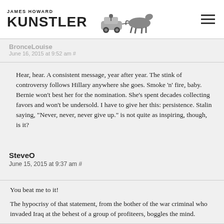JAMES HOWARD KUNSTLER
BronceLouise
June 16, 2015 at 9:52 am #
Hear, hear. A consistent message, year after year. The stink of controversy follows Hillary anywhere she goes. Smoke 'n' fire, baby. Bernie won't best her for the nomination. She's spent decades collecting favors and won't be undersold. I have to give her this: persistence. Stalin saying, "Never, never, never give up." is not quite as inspiring, though, is it?
SteveO
June 15, 2015 at 9:37 am #
You beat me to it!

The hypocrisy of that statement, from the bother of the war criminal who invaded Iraq at the behest of a group of profiteers, boggles the mind.